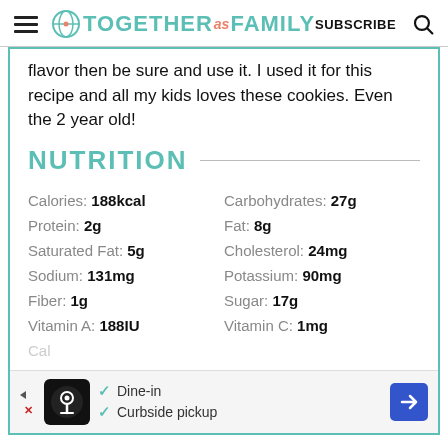TOGETHER as FAMILY | SUBSCRIBE
flavor then be sure and use it. I used it for this recipe and all my kids loves these cookies. Even the 2 year old!
NUTRITION
| Nutrient | Value |
| --- | --- |
| Calories: | 188kcal | Carbohydrates: | 27g |
| Protein: | 2g | Fat: | 8g |
| Saturated Fat: | 5g | Cholesterol: | 24mg |
| Sodium: | 131mg | Potassium: | 90mg |
| Fiber: | 1g | Sugar: | 17g |
| Vitamin A: | 188IU | Vitamin C: | 1mg |
[Figure (other): Advertisement banner with restaurant dine-in and curbside pickup options]